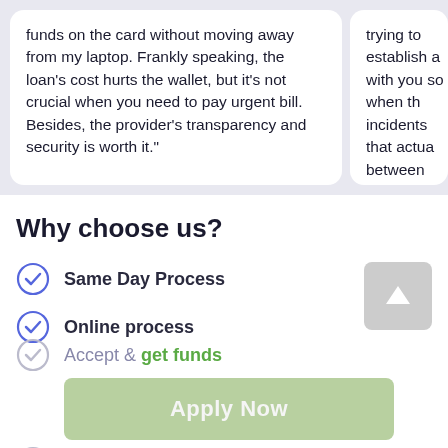funds on the card without moving away from my laptop. Frankly speaking, the loan's cost hurts the wallet, but it's not crucial when you need to pay urgent bill. Besides, the provider's transparency and security is worth it."
trying to establish a with you so when th incidents that actua between pay period t a place I could go to which my employee week ($2000). I wen
Why choose us?
Same Day Process
Online process
Accept & get funds
Rebuild Credit
Apply Now
Applying does NOT affect your credit score!
No credit check to apply.